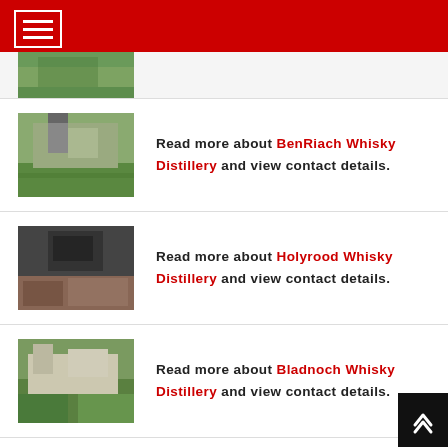Navigation menu header bar
[Figure (photo): Partial distillery photo visible at top, partially cropped]
Read more about BenRiach Whisky Distillery and view contact details.
[Figure (photo): BenRiach Whisky Distillery building with pagoda roof and green lawn]
Read more about Holyrood Whisky Distillery and view contact details.
[Figure (photo): Holyrood Whisky Distillery modern dark building exterior]
Read more about Bladnoch Whisky Distillery and view contact details.
[Figure (photo): Bladnoch Whisky Distillery rural building surrounded by trees]
Read more about Littlemill Whisky Distillery and view contact details.
[Figure (photo): Littlemill Whisky Distillery aerial or ground view of buildings]